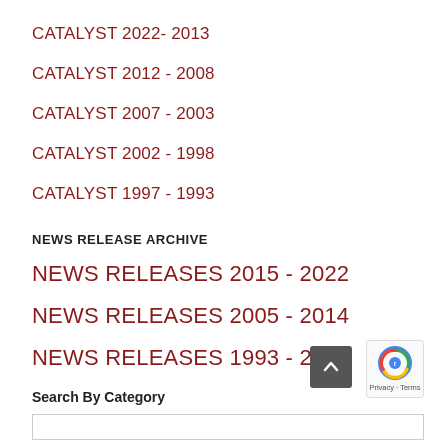CATALYST 2022- 2013
CATALYST 2012 - 2008
CATALYST 2007 - 2003
CATALYST 2002 - 1998
CATALYST 1997 - 1993
NEWS RELEASE ARCHIVE
NEWS RELEASES 2015 - 2022
NEWS RELEASES 2005 - 2014
NEWS RELEASES 1993 - 2004
Search By Category